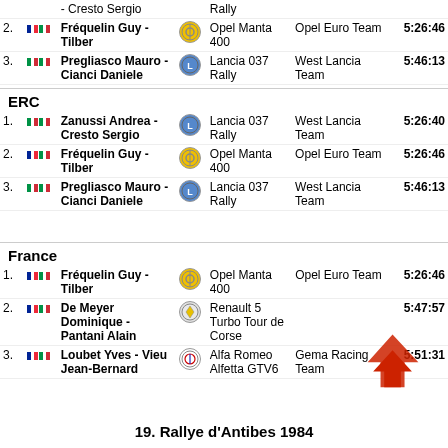| # | Flags | Name | Logo | Car | Team | Time |
| --- | --- | --- | --- | --- | --- | --- |
|  |  | - Cresto Sergio |  | Rally |  |  |
| 2. | FR IT | Fréquelin Guy - Tilber | Opel | Opel Manta 400 | Opel Euro Team | 5:26:46 |
| 3. | IT IT | Pregliasco Mauro - Cianci Daniele | Lancia | Lancia 037 Rally | West Lancia Team | 5:46:13 |
ERC
| # | Flags | Name | Logo | Car | Team | Time |
| --- | --- | --- | --- | --- | --- | --- |
| 1. | IT IT | Zanussi Andrea - Cresto Sergio | Lancia | Lancia 037 Rally | West Lancia Team | 5:26:40 |
| 2. | FR IT | Fréquelin Guy - Tilber | Opel | Opel Manta 400 | Opel Euro Team | 5:26:46 |
| 3. | IT IT | Pregliasco Mauro - Cianci Daniele | Lancia | Lancia 037 Rally | West Lancia Team | 5:46:13 |
France
| # | Flags | Name | Logo | Car | Team | Time |
| --- | --- | --- | --- | --- | --- | --- |
| 1. | FR IT | Fréquelin Guy - Tilber | Opel | Opel Manta 400 | Opel Euro Team | 5:26:46 |
| 2. | FR IT | De Meyer Dominique - Pantani Alain | Renault | Renault 5 Turbo Tour de Corse |  | 5:47:57 |
| 3. | FR IT | Loubet Yves - Vieu Jean-Bernard | Alfa | Alfa Romeo Alfetta GTV6 | Gema Racing Team | 5:51:31 |
19. Rallye d'Antibes 1984